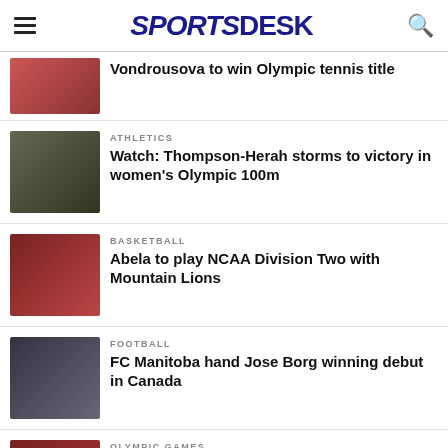SPORTS DESK
Vondrousova to win Olympic tennis title
ATHLETICS
Watch: Thompson-Herah storms to victory in women's Olympic 100m
BASKETBALL
Abela to play NCAA Division Two with Mountain Lions
FOOTBALL
FC Manitoba hand Jose Borg winning debut in Canada
OLYMPIC GAMES
Angry Djokovic loses to Carreno Busta in Olympics bronze-medal match